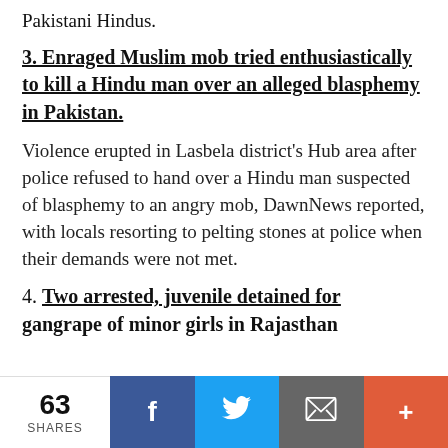Pakistani Hindus.
3. Enraged Muslim mob tried enthusiastically to kill a Hindu man over an alleged blasphemy in Pakistan.
Violence erupted in Lasbela district's Hub area after police refused to hand over a Hindu man suspected of blasphemy to an angry mob, DawnNews reported, with locals resorting to pelting stones at police when their demands were not met.
4. Two arrested, juvenile detained for gangrape of minor girls in Rajasthan
63 SHARES | Facebook | Twitter | Email | More